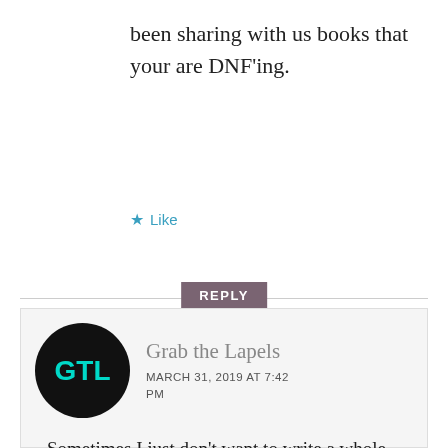been sharing with us books that your are DNF'ing.
Like
REPLY
Grab the Lapels
MARCH 31, 2019 AT 7:42 PM
Sometimes I just don't want to write a whole review on a book I decided to DNF, especially if I quite really early on, like Soft on Soft. I bought that book, too, and I feel like I wasted my